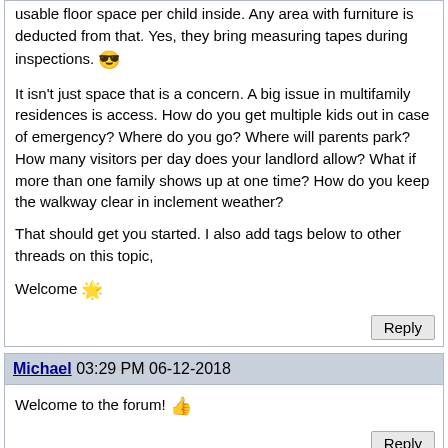usable floor space per child inside. Any area with furniture is deducted from that. Yes, they bring measuring tapes during inspections. 😎
It isn't just space that is a concern. A big issue in multifamily residences is access. How do you get multiple kids out in case of emergency? Where do you go? Where will parents park? How many visitors per day does your landlord allow? What if more than one family shows up at one time? How do you keep the walkway clear in inclement weather?
That should get you started. I also add tags below to other threads on this topic,
Welcome 🌟
Michael 03:29 PM 06-12-2018
Welcome to the forum! 👍
CalCare 06:36 PM 06-12-2018
Hi, I see you are in CA, like me. I have seen people do small family childcare (which means 6-8 children depending on ages) even in a very small upstairs apartment. You want to Google "title 22 family childcare California". That will tell you all the rules. I actually don't think there is a minimum square foot per a child for what we call "small family childcare"